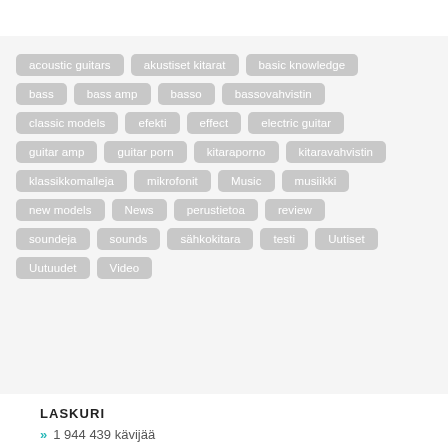acoustic guitars, akustiset kitarat, basic knowledge, bass, bass amp, basso, bassovahvistin, classic models, efekti, effect, electric guitar, guitar amp, guitar porn, kitaraporno, kitaravahvistin, klassikkomalleja, mikrofonit, Music, musiikki, new models, News, perustietoa, review, soundeja, sounds, sähkokitara, testi, Uutiset, Uutuudet, Video
LASKURI
» 1 944 439 kävijää